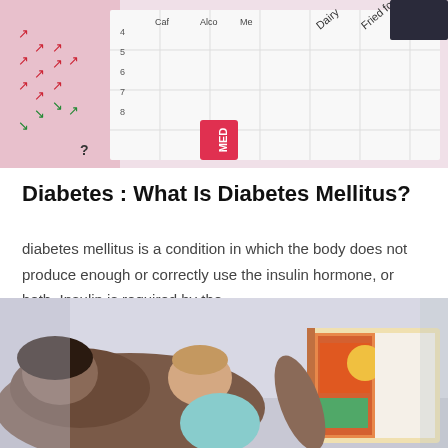[Figure (photo): A diabetes tracking chart with colored arrows (red and green) and food categories such as Dairy, Fried foods, Sweets, with a MED label visible.]
Diabetes : What Is Diabetes Mellitus?
diabetes mellitus is a condition in which the body does not produce enough or correctly use the insulin hormone, or both. Insulin is required by the...
[Figure (photo): A parent and baby lying down together, with the parent holding a colorful picture book open. The baby is looking up at the book.]